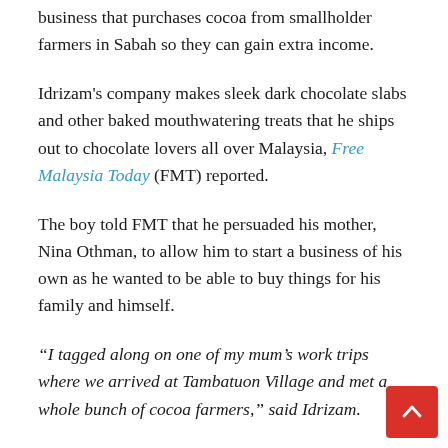business that purchases cocoa from smallholder farmers in Sabah so they can gain extra income.
Idrizam's company makes sleek dark chocolate slabs and other baked mouthwatering treats that he ships out to chocolate lovers all over Malaysia, Free Malaysia Today (FMT) reported.
The boy told FMT that he persuaded his mother, Nina Othman, to allow him to start a business of his own as he wanted to be able to buy things for his family and himself.
“I tagged along on one of my mum’s work trips where we arrived at Tambatuon Village and met a whole bunch of cocoa farmers,” said Idrizam.
He then had the idea of purchasing cocoa from the farmers and experimenting with it to make chocolaty treats.